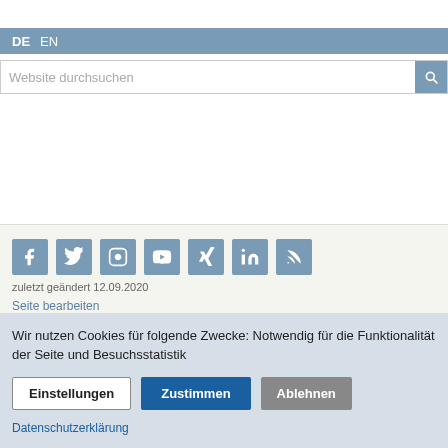DE  EN
Website durchsuchen
[Figure (other): Social media icons: Facebook, Twitter, Instagram, YouTube, Xing, LinkedIn, RSS feed]
zuletzt geändert 12.09.2020
Seite bearbeiten
Impressum  Datenschutz  Barrierefreiheit
Wir nutzen Cookies für folgende Zwecke: Notwendig für die Funktionalität der Seite und Besuchsstatistik
Einstellungen  Zustimmen  Ablehnen
Datenschutzerklärung